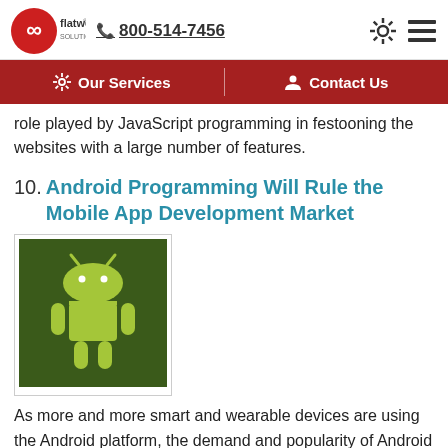flatworld solutions  800-514-7456
Our Services  |  Contact Us
role played by JavaScript programming in festooning the websites with a large number of features.
10. Android Programming Will Rule the Mobile App Development Market
[Figure (photo): Android robot mascot logo on dark green background]
As more and more smart and wearable devices are using the Android platform, the demand and popularity of Android programming have scaled newer heights. Today, over 80% people across the